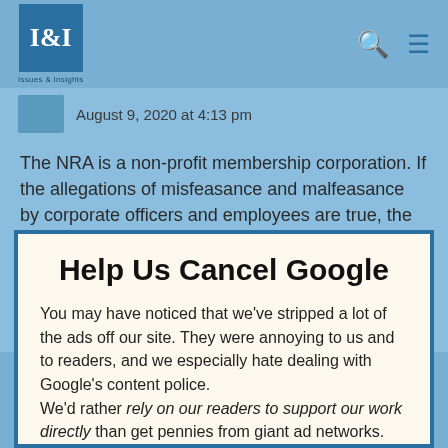I&I Issues & Insights
August 9, 2020 at 4:13 pm
The NRA is a non-profit membership corporation. If the allegations of misfeasance and malfeasance by corporate officers and employees are true, the corporation and its members are the victims, not the
Help Us Cancel Google
You may have noticed that we've stripped a lot of the ads off our site. They were annoying to us and to readers, and we especially hate dealing with Google's content police.
We'd rather rely on our readers to support our work directly than get pennies from giant ad networks.
We won't charge you to access our content, but you can help us keep this site going with a donation.